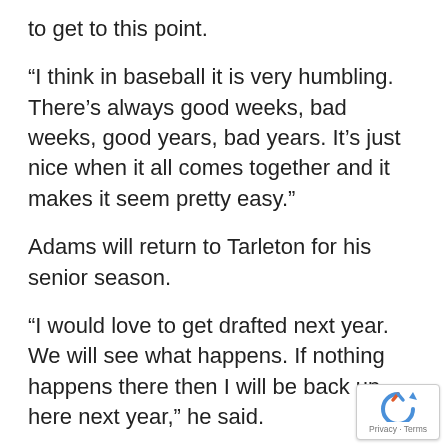to get to this point.
“I think in baseball it is very humbling. There’s always good weeks, bad weeks, good years, bad years. It’s just nice when it all comes together and it makes it seem pretty easy.”
Adams will return to Tarleton for his senior season.
“I would love to get drafted next year. We will see what happens. If nothing happens there then I will be back up here next year,” he said.
Adams and the 57’s will meet the Moose Jaw Miller Express in the opening round of the WMBL play beginning Tuesday at Mitchell Field.
[Figure (logo): reCAPTCHA badge with spinning arrow logo and Privacy - Terms text]